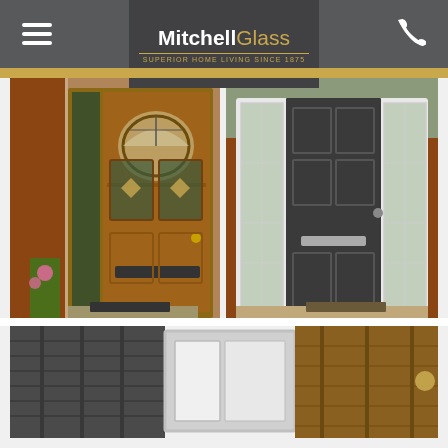Mitchell Glass - Superior Home Living Since 1875
[Figure (photo): Wooden composite front door with arched top glass panel and decorative glazing, side panel with textured glass, set in brick house exterior]
[Figure (photo): Dark grey composite front door with white frame and two side glass panels with grid glazing, set in brick house exterior]
[Figure (photo): Close-up of composite door material samples showing dark grey, light grey/white, and brown/golden color options]